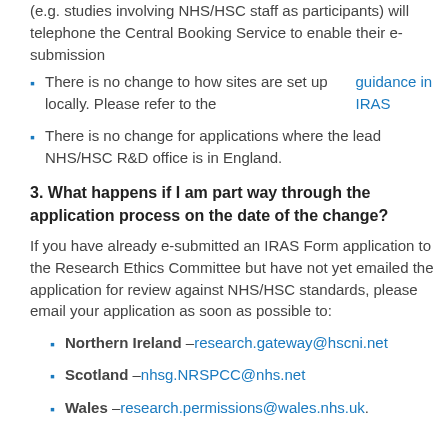(e.g. studies involving NHS/HSC staff as participants) will telephone the Central Booking Service to enable their e-submission
There is no change to how sites are set up locally. Please refer to the guidance in IRAS
There is no change for applications where the lead NHS/HSC R&D office is in England.
3. What happens if I am part way through the application process on the date of the change?
If you have already e-submitted an IRAS Form application to the Research Ethics Committee but have not yet emailed the application for review against NHS/HSC standards, please email your application as soon as possible to:
Northern Ireland – research.gateway@hscni.net
Scotland – nhsg.NRSPCC@nhs.net
Wales – research.permissions@wales.nhs.uk.